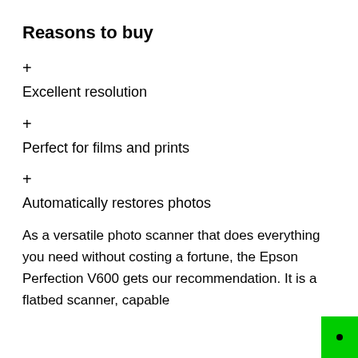Reasons to buy
+
Excellent resolution
+
Perfect for films and prints
+
Automatically restores photos
As a versatile photo scanner that does everything you need without costing a fortune, the Epson Perfection V600 gets our recommendation. It is a flatbed scanner, capable